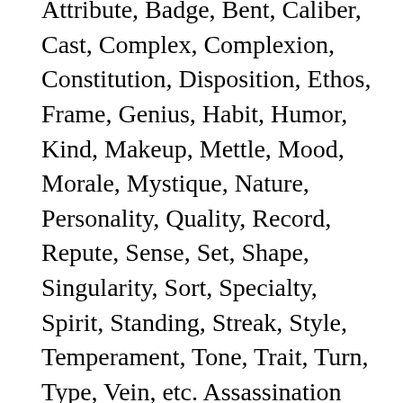Attribute, Badge, Bent, Caliber, Cast, Complex, Complexion, Constitution, Disposition, Ethos, Frame, Genius, Habit, Humor, Kind, Makeup, Mettle, Mood, Morale, Mystique, Nature, Personality, Quality, Record, Repute, Sense, Set, Shape, Singularity, Sort, Specialty, Spirit, Standing, Streak, Style, Temperament, Tone, Trait, Turn, Type, Vein, etc. Assassination Meaning in Urdu Assassination meaning in Urdu is Khufia Qatal. ... Scorcher, Slam, Slime, Slur, Smear, Tale, Traducement, Vilification, Black Eye, Backstabbing, Character Assassination, Cheap Shot, Dirty Laundry and Slap In Face. Opprobrium Bengali meaning along with definition. Characters Meaning in Urdu. We provide breaking news, Pakistani